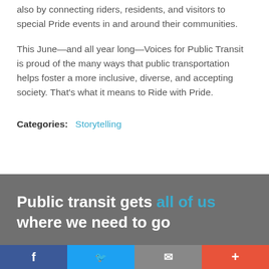also by connecting riders, residents, and visitors to special Pride events in and around their communities.
This June—and all year long—Voices for Public Transit is proud of the many ways that public transportation helps foster a more inclusive, diverse, and accepting society. That's what it means to Ride with Pride.
Categories:  Storytelling
Public transit gets all of us where we need to go